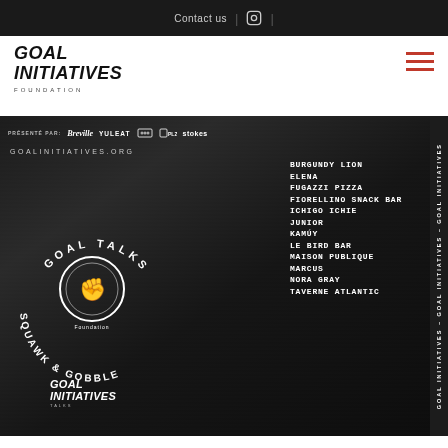Contact us  |  [instagram]  |
[Figure (logo): Goal Initiatives Foundation logo with stylized italic text]
[Figure (photo): Dark atmospheric photo of cooking scene with Goal Talks Squawk & Gobble event overlay, featuring sponsor logos (Breville, Yuleat, Stokes, etc.), goalinitiatives.org URL, circular logo, and list of restaurants: BURGUNDY LION, ELENA, FUGAZZI PIZZA, FIORELLINO SNACK BAR, ICHIGO ICHIE, JUNIOR, KAMÚY, LE BIRD BAR, MAISON PUBLIQUE, MARCUS, NORA GRAY, TAVERNE ATLANTIC]